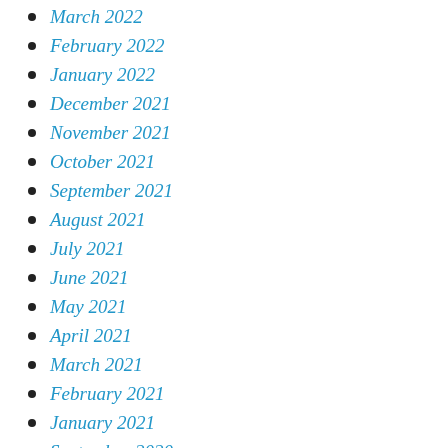March 2022
February 2022
January 2022
December 2021
November 2021
October 2021
September 2021
August 2021
July 2021
June 2021
May 2021
April 2021
March 2021
February 2021
January 2021
September 2020
April 2020